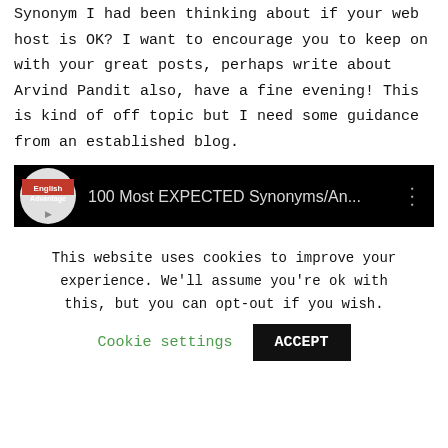Synonym I had been thinking about if your web host is OK? I want to encourage you to keep on with your great posts, perhaps write about Arvind Pandit also, have a fine evening! This is kind of off topic but I need some guidance from an established blog.
[Figure (screenshot): YouTube-style video thumbnail showing 'English Advantage' logo and title '100 Most EXPECTED Synonyms/An...' on black background with three-dot menu icon]
This website uses cookies to improve your experience. We'll assume you're ok with this, but you can opt-out if you wish.
Cookie settings   ACCEPT